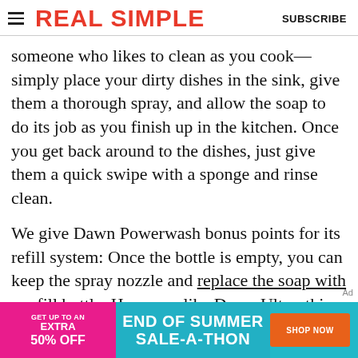REAL SIMPLE | SUBSCRIBE
someone who likes to clean as you cook—simply place your dirty dishes in the sink, give them a thorough spray, and allow the soap to do its job as you finish up in the kitchen. Once you get back around to the dishes, just give them a quick swipe with a sponge and rinse clean.
We give Dawn Powerwash bonus points for its refill system: Once the bottle is empty, you can keep the spray nozzle and replace the soap with a refill bottle. However, like Dawn Ultra, this soap does use synthetic
[Figure (infographic): Advertisement banner: pink left section 'GET UP TO AN EXTRA 50% OFF', teal middle section 'END OF SUMMER SALE-A-THON', orange button 'SHOP NOW']